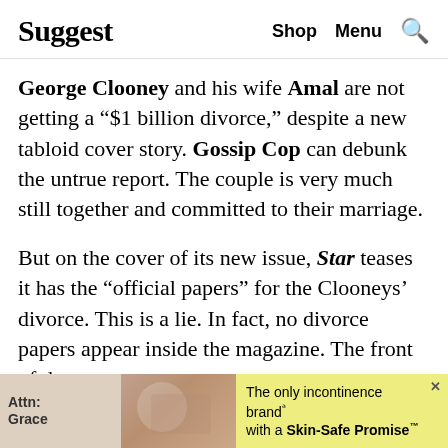Suggest   Shop   Menu   🔍
George Clooney and his wife Amal are not getting a “$1 billion divorce,” despite a new tabloid cover story. Gossip Cop can debunk the untrue report. The couple is very much still together and committed to their marriage.
But on the cover of its new issue, Star teases it has the “official papers” for the Clooneys’ divorce. This is a lie. In fact, no divorce papers appear inside the magazine. The front of the
[Figure (other): Advertisement banner at bottom of page: Attn: Grace brand with image of hands and yellow highlighted text 'The only incontinence brand with a Skin-Safe Promise™' and an X close button]